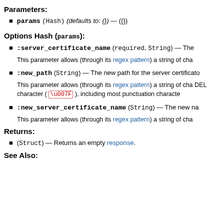Parameters:
params (Hash) (defaults to: {}) — ({})
Options Hash (params):
:server_certificate_name (required, String) — The
This parameter allows (through its regex pattern) a string of cha
:new_path (String) — The new path for the server certificato
This parameter allows (through its regex pattern) a string of cha DEL character ( \u007F ), including most punctuation characte
:new_server_certificate_name (String) — The new na
This parameter allows (through its regex pattern) a string of cha
Returns:
(Struct) — Returns an empty response.
See Also: